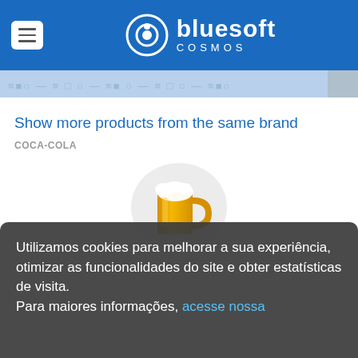bluesoft COSMOS
Show more products from the same brand
COCA-COLA
[Figure (illustration): Beer mug icon — a golden/yellow beer mug with foam, inside a light grey circle, centered on the page]
Utilizamos cookies para melhorar a sua experiência, otimizar as funcionalidades do site e obter estatísticas de visita. Para maiores informações, acesse nossa